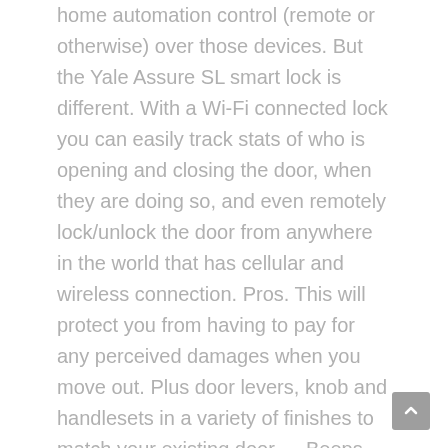home automation control (remote or otherwise) over those devices. But the Yale Assure SL smart lock is different. With a Wi-Fi connected lock you can easily track stats of who is opening and closing the door, when they are doing so, and even remotely lock/unlock the door from anywhere in the world that has cellular and wireless connection. Pros. This will protect you from having to pay for any perceived damages when you move out. Plus door levers, knob and handlesets in a variety of finishes to match your existing door … Beeps every time you open the door, cannot be disabled. The August Smart Keypad is the ultimate accessory for your August Smart Lock. So knowing how to effectively protect your home and everything in it should be your top priority. Just like any other smart home equipment, the cost of smart locks varies widely. Pair the Navis Paddle with any August Smart Lock for 100% hands-free, keyless entry. Seamless home access with your smartphone. Rest assured that you can still unlock your door, even if you lose your keys or smartphone. Low cost compared to alternatives. It is a fantastic lock, but still has